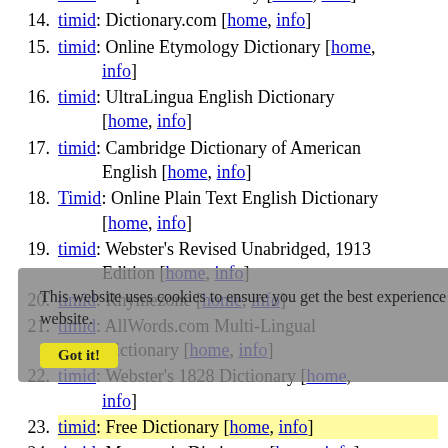13. timid: Infoplease Dictionary [home, info]
14. timid: Dictionary.com [home, info]
15. timid: Online Etymology Dictionary [home, info]
16. timid: UltraLingua English Dictionary [home, info]
17. timid: Cambridge Dictionary of American English [home, info]
18. Timid: Online Plain Text English Dictionary [home, info]
19. timid: Webster's Revised Unabridged, 1913 Edition [home, info]
20. timid: Rhymezone [home, info]
21. timid: AllWords.com Multi-Lingual Dictionary [home, info]
22. timid: Webster's 1828 Dictionary [home, info]
23. timid: Free Dictionary [home, info]
24. timid: Mnemonic Dictionary [home, info]
25. timid: WordNet 1.7 Vocabulary Helper [home, info]